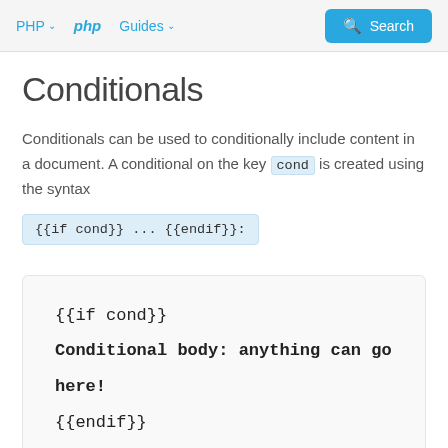PHP  php  Guides  Search
Conditionals
Conditionals can be used to conditionally include content in a document. A conditional on the key cond is created using the syntax {{if cond}} ... {{endif}}:
{{if cond}}

Conditional body: anything can go here!

{{endif}}